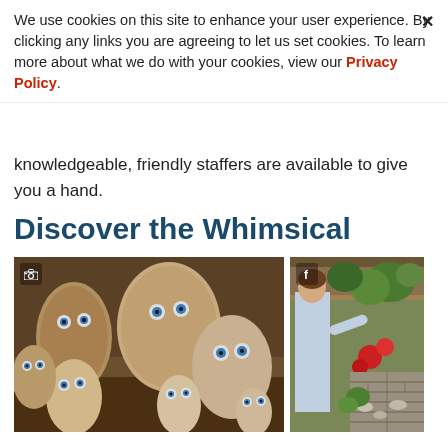We use cookies on this site to enhance your user experience. By clicking any links you are agreeing to let us set cookies. To learn more about what we do with your cookies, view our Privacy Policy.
knowledgeable, friendly staffers are available to give you a hand.
Discover the Whimsical
[Figure (photo): Two photos side by side: left photo shows a group of stone owl garden sculptures of various sizes arranged outdoors; right photo shows a woman looking at a fairy garden display with colorful plants and decorations.]
From their fairy garden displays that kids love to explore to a variety of unique items to decorate your